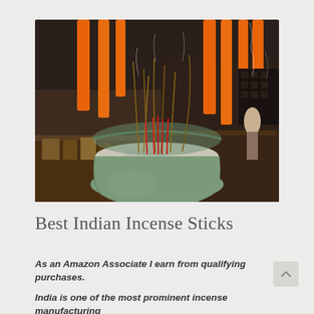[Figure (photo): Photo of incense sticks burning in a large green ceramic pot filled with ash, with tall orange candles in the background at what appears to be a temple or shrine]
Best Indian Incense Sticks
As an Amazon Associate I earn from qualifying purchases.
India is one of the most prominent incense manufacturing